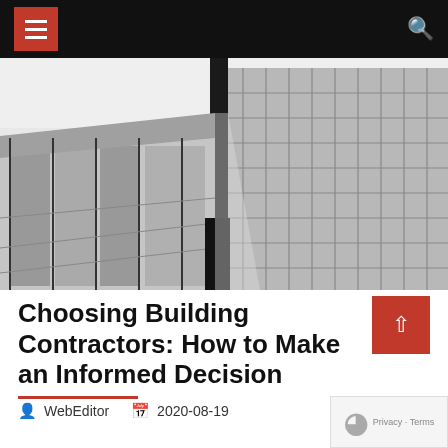Navigation header with hamburger menu and search icon
[Figure (photo): Black and white upward-angle photograph of a modern glass and concrete building facade with grid-like exterior panels and large glass windows]
Choosing Building Contractors: How to Make an Informed Decision
WebEditor   2020-08-19